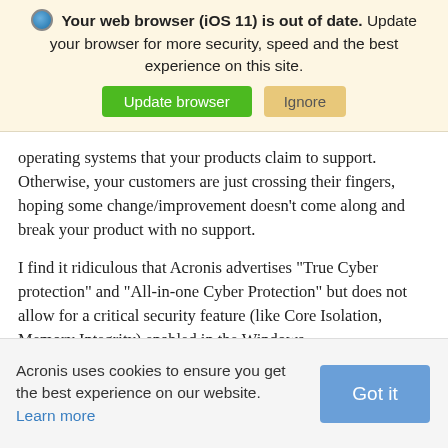[Figure (screenshot): Browser update banner with globe icon, bold warning text 'Your web browser (iOS 11) is out of date.', instruction to update, and two buttons: green 'Update browser' and tan 'Ignore']
operating systems that your products claim to support.  Otherwise, your customers are just crossing their fingers, hoping some change/improvement doesn't come along and break your product with no support.

I find it ridiculous that Acronis advertises "True Cyber protection" and "All-in-one Cyber Protection" but does not allow for a critical security feature (like Core Isolation, Memory Integrity) enabled in the Windows
Acronis uses cookies to ensure you get the best experience on our website. Learn more